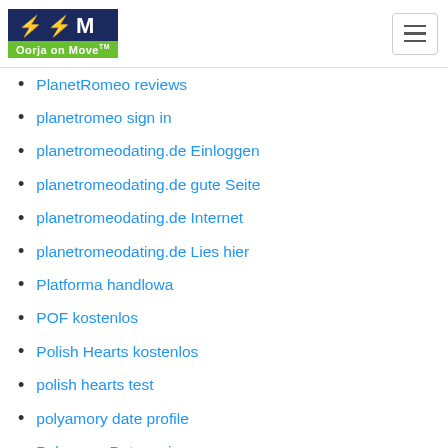Oorja on Move™ logo and hamburger menu
PlanetRomeo reviews
planetromeo sign in
planetromeodating.de Einloggen
planetromeodating.de gute Seite
planetromeodating.de Internet
planetromeodating.de Lies hier
Platforma handlowa
POF kostenlos
Polish Hearts kostenlos
polish hearts test
polyamory date profile
PolyamoryDate reviews
Poppen.de was kostet
poppendating.de app
poppendating.de reddit
poppendating.de Seite? ?